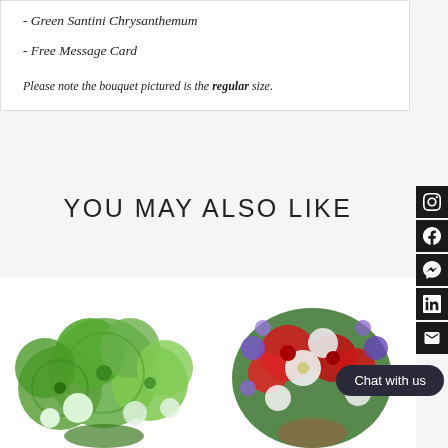- Green Santini Chrysanthemum
- Free Message Card
Please note the bouquet pictured is the regular size.
YOU MAY ALSO LIKE
[Figure (photo): Green flower bouquet with green chrysanthemums and white flowers]
[Figure (photo): Mixed bouquet with red, white, and purple flowers]